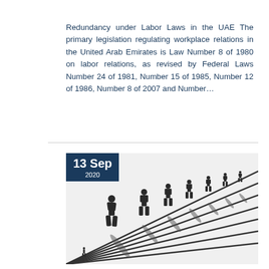Redundancy under Labor Laws in the UAE The primary legislation regulating workplace relations in the United Arab Emirates is Law Number 8 of 1980 on labor relations, as revised by Federal Laws Number 24 of 1981, Number 15 of 1985, Number 12 of 1986, Number 8 of 2007 and Number…
[Figure (illustration): Black and white illustration of a line of diminishing human figures walking along converging diagonal lines, with a date badge overlay showing '13 Sep 2020']